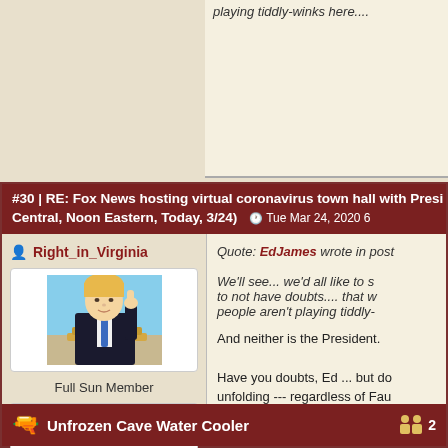playing tiddly-winks here....
#30 | RE: Fox News hosting virtual coronavirus town hall with President... Central, Noon Eastern, Today, 3/24) — Tue Mar 24, 2020 6...
Right_in_Virginia — Full Sun Member — Posts: 9324 — Registered since: 11.08.2019
Quote: EdJames wrote in post...
We'll see... we'd all like to s... to not have doubts.... that w... people aren't playing tiddly-...
And neither is the President.
Have you doubts, Ed ... but do... unfolding --- regardless of Fau...
Unfrozen Cave Water Cooler   2